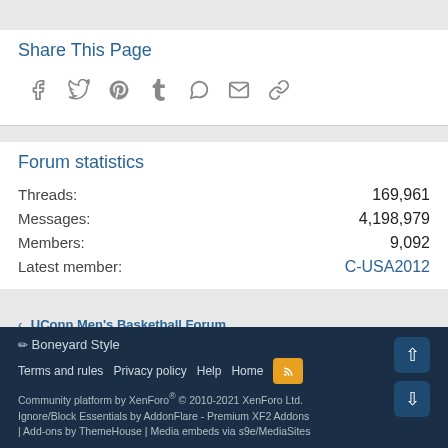Share This Page
[Figure (infographic): Social sharing icons: Facebook, Twitter, Pinterest, Tumblr, WhatsApp, Email, Link]
Forum statistics
Threads: 169,961
Messages: 4,198,979
Members: 9,092
Latest member: C-USA2012
< UConn Men's Basketball Forum
✏ Boneyard Style
Terms and rules · Privacy policy · Help · Home
Community platform by XenForo® © 2010-2021 XenForo Ltd. Ignore/Block Essentials by AddonFlare - Premium XF2 Addons | Add-ons by ThemeHouse | Media embeds via s9e/MediaSites